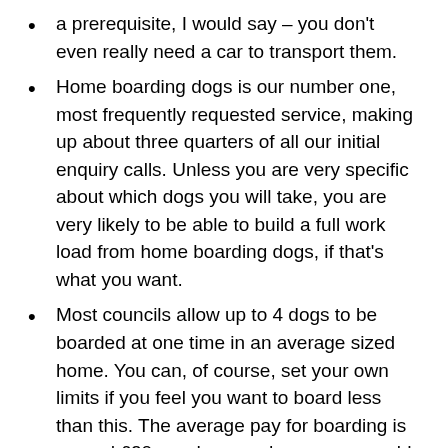a prerequisite, I would say – you don't even really need a car to transport them.
Home boarding dogs is our number one, most frequently requested service, making up about three quarters of all our initial enquiry calls. Unless you are very specific about which dogs you will take, you are very likely to be able to build a full work load from home boarding dogs, if that's what you want.
Most councils allow up to 4 dogs to be boarded at one time in an average sized home. You can, of course, set your own limits if you feel you want to board less than this. The average pay for boarding is around £20 per day, per dog, so you could earn anything from a full time wage to a top up wage (perhaps in early retirement).
You are in full control of how many dogs you care for and how frequently you have time off.
If you have a sociable dog at home the incoming dogs can offer an added dimension to your own dog's life. This